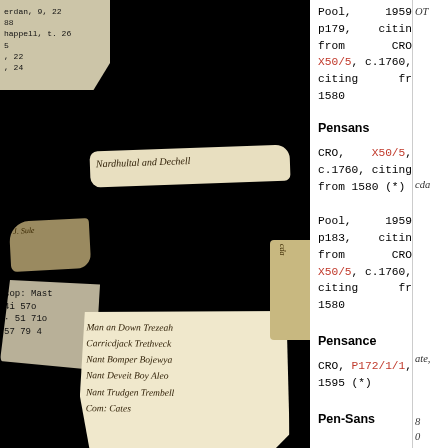[Figure (photo): Collage of historical manuscript fragments and torn paper pieces showing handwritten and printed text on black background. Fragments include cursive handwriting, printed place names like 'Nardhultal and Dechell', 'Warleggon', 'St. Neot', 'Cardiophana', and printed ledger entries. Some fragments show numerical data and old scripts.]
Pool, 1959, p179, citing from CRO, X50/5, c.1760, citing from 1580
Pensans
CRO, X50/5, c.1760, citing from 1580 (*)
Pool, 1959, p183, citing from CRO, X50/5, c.1760, citing from 1580
Pensance
CRO, P172/1/1, 1595 (*)
Pen-Sans